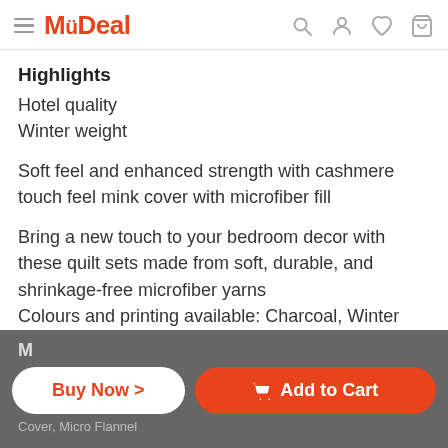MyDeal
Highlights
Hotel quality
Winter weight
Soft feel and enhanced strength with cashmere touch feel mink cover with microfiber fill
Bring a new touch to your bedroom decor with these quilt sets made from soft, durable, and shrinkage-free microfiber yarns
Colours and printing available: Charcoal, Winter Night, Diamond Flower and Aqua
M
Cover, Micro Flannel